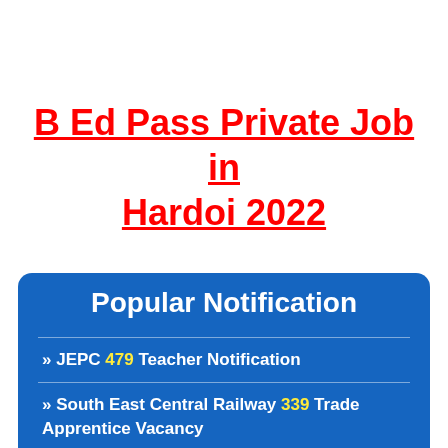B Ed Pass Private Job in Hardoi 2022
Popular Notification
» JEPC 479 Teacher Notification
» South East Central Railway 339 Trade Apprentice Vacancy
» CBSE 350 Technician Apprentice Govt Jobs